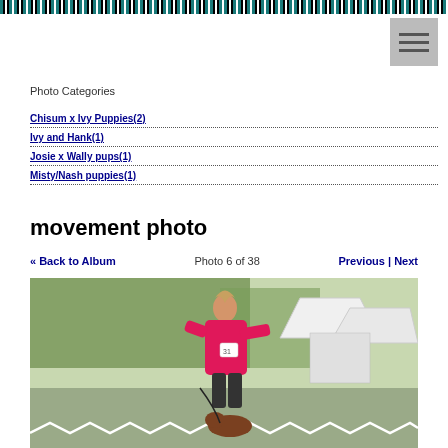barcode header strip
Photo Categories
Chisum x Ivy Puppies(2)
Ivy and Hank(1)
Josie x Wally pups(1)
Misty/Nash puppies(1)
movement photo
« Back to Album   Photo 6 of 38   Previous | Next
[Figure (photo): A woman in a bright pink jacket with blonde hair running/showing a brown dog at an outdoor dog show, with white tents and trees in background]